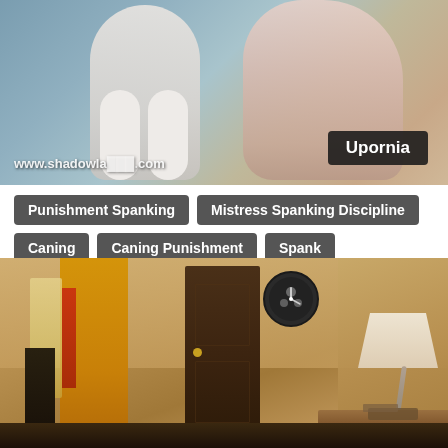[Figure (photo): Video thumbnail showing two figures, one in white stockings, with a watermark 'www.shadowla[...]com' and an 'Upornia' badge overlay]
Punishment Spanking
Mistress Spanking Discipline
Caning
Caning Punishment
Spank
[Figure (photo): Room interior with dark wooden door, yellow accent wall, circular wall clock, desk lamp on right, dark floor, warm beige walls]